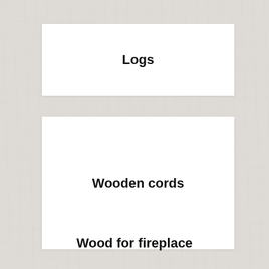Logs
Wooden cords
Wood for fireplace